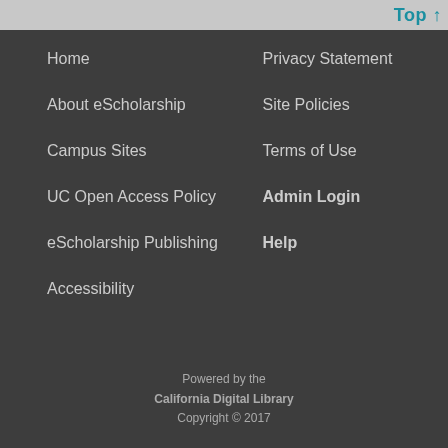Top
Home
Privacy Statement
About eScholarship
Site Policies
Campus Sites
Terms of Use
UC Open Access Policy
Admin Login
eScholarship Publishing
Help
Accessibility
Powered by the California Digital Library Copyright © 2017